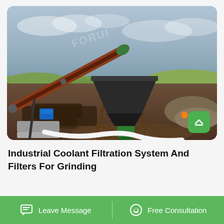[Figure (photo): Outdoor industrial mining/grinding site showing a belt conveyor system, a hopper structure supported by wooden/metal frames, a white flexible hose on the ground, and piles of earth/gravel. Overcast sky in background. FORUI watermark visible twice.]
Industrial Coolant Filtration System And Filters For Grinding
Leave Message   Free Consultation